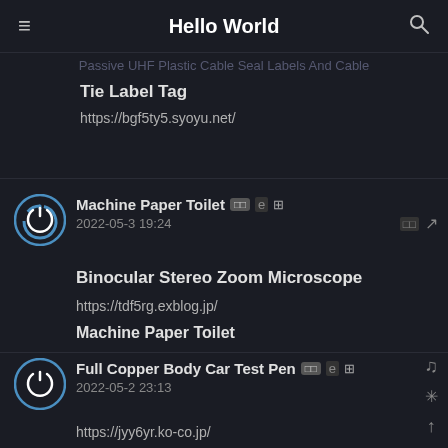Hello World
Passive UHF Plastic Cable Seal Labels And Cable
Tie Label Tag
https://bgf5ty5.syoyu.net/
Machine Paper Toilet 2022-05-3 19:24
Binocular Stereo Zoom Microscope
https://tdf5rg.exblog.jp/
Machine Paper Toilet
Full Copper Body Car Test Pen 2022-05-2 23:13
https://jyy6yr.ko-co.jp/